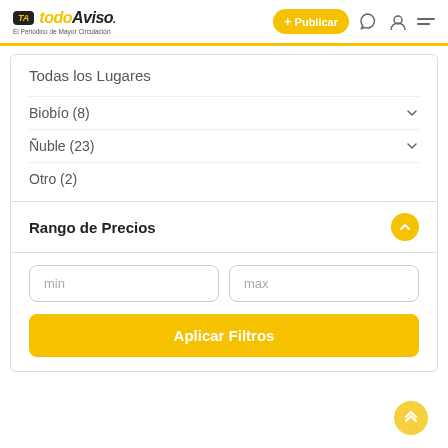todoAviso - El Periódico de Mayor Circulación | + Publicar
Todas los Lugares
Biobío (8)
Ñuble (23)
Otro (2)
Rango de Precios
min
max
Aplicar Filtros